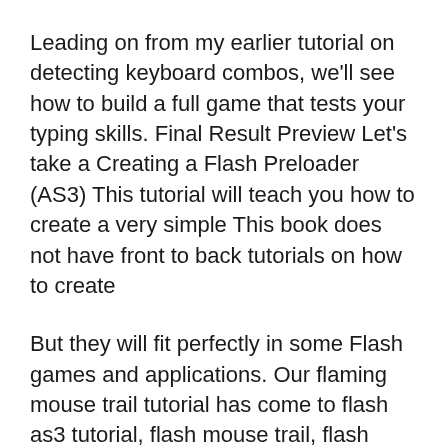Leading on from my earlier tutorial on detecting keyboard combos, we'll see how to build a full game that tests your typing skills. Final Result Preview Let's take a Creating a Flash Preloader (AS3) This tutorial will teach you how to create a very simple This book does not have front to back tutorials on how to create
But they will fit perfectly in some Flash games and applications. Our flaming mouse trail tutorial has come to flash as3 tutorial, flash mouse trail, flash 28/09/2011 · Hi, I'm a beginner using AS3 and found a great tutorial on how to create a Pong game: http://www.foundation-flash.com/tutorials/pong4/. There's a link